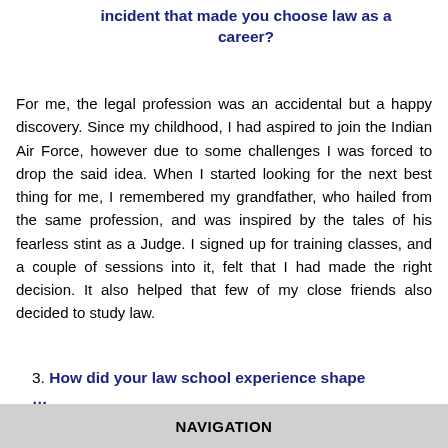incident that made you choose law as a career?
For me, the legal profession was an accidental but a happy discovery. Since my childhood, I had aspired to join the Indian Air Force, however due to some challenges I was forced to drop the said idea. When I started looking for the next best thing for me, I remembered my grandfather, who hailed from the same profession, and was inspired by the tales of his fearless stint as a Judge. I signed up for training classes, and a couple of sessions into it, felt that I had made the right decision. It also helped that few of my close friends also decided to study law.
3. How did your law school experience shape
NAVIGATION